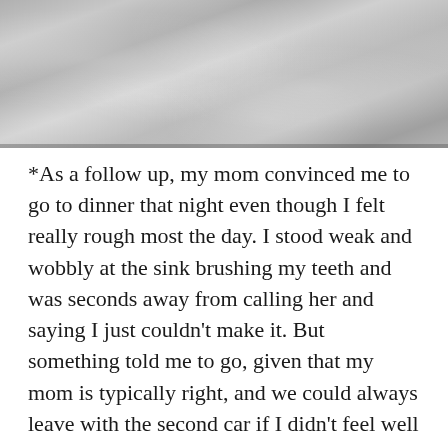[Figure (photo): Grayscale textured photograph with mottled light and dark grey tones, resembling a concrete or stone surface.]
*As a follow up, my mom convinced me to go to dinner that night even though I felt really rough most the day. I stood weak and wobbly at the sink brushing my teeth and was seconds away from calling her and saying I just couldn't make it. But something told me to go, given that my mom is typically right, and we could always leave with the second car if I didn't feel well enough to stay. Also, these people are basically family, and they'd be completely comfortable letting me lay on the couch while my parents and my brother Nick enjoyed dinner. (Nick was in town and it was his